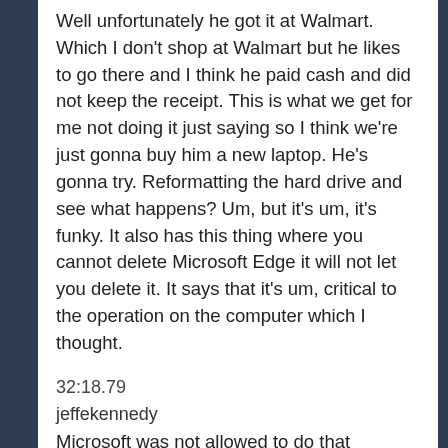Well unfortunately he got it at Walmart. Which I don't shop at Walmart but he likes to go there and I think he paid cash and did not keep the receipt. This is what we get for me not doing it just saying so I think we're just gonna buy him a new laptop. He's gonna try. Reformatting the hard drive and see what happens? Um, but it's um, it's funky. It also has this thing where you cannot delete Microsoft Edge it will not let you delete it. It says that it's um, critical to the operation on the computer which I thought.
32:18.79
jeffekennedy
Microsoft was not allowed to do that anymore. It used to be. You know they tried to make you